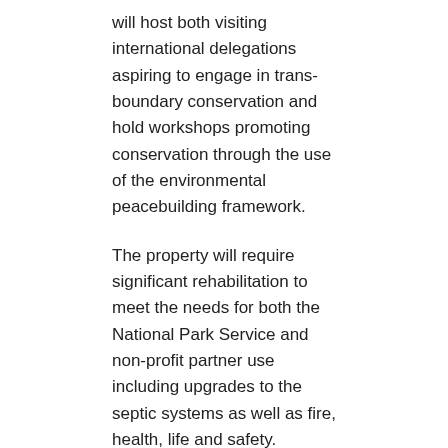will host both visiting international delegations aspiring to engage in trans-boundary conservation and hold workshops promoting conservation through the use of the environmental peacebuilding framework.
The property will require significant rehabilitation to meet the needs for both the National Park Service and non-profit partner use including upgrades to the septic systems as well as fire, health, life and safety.
Skills
Posted on
June 30, 2015